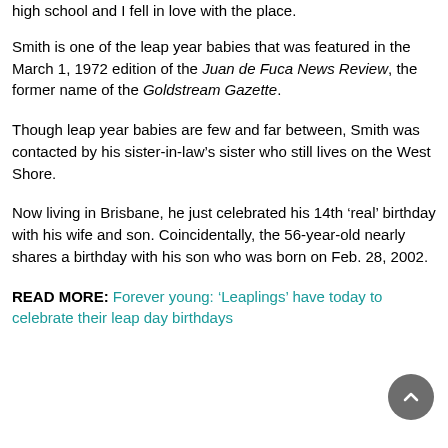high school and I fell in love with the place.
Smith is one of the leap year babies that was featured in the March 1, 1972 edition of the Juan de Fuca News Review, the former name of the Goldstream Gazette.
Though leap year babies are few and far between, Smith was contacted by his sister-in-law’s sister who still lives on the West Shore.
Now living in Brisbane, he just celebrated his 14th ‘real’ birthday with his wife and son. Coincidentally, the 56-year-old nearly shares a birthday with his son who was born on Feb. 28, 2002.
READ MORE: Forever young: ‘Leaplings’ have today to celebrate their leap day birthdays